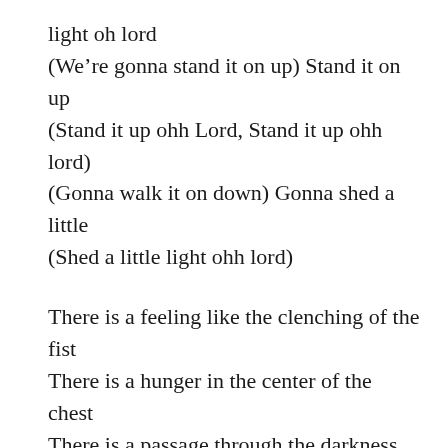light oh lord
(We’re gonna stand it on up) Stand it on up
(Stand it up ohh Lord, Stand it up ohh lord)
(Gonna walk it on down) Gonna shed a little
(Shed a little light ohh lord)
There is a feeling like the clenching of the fist
There is a hunger in the center of the chest
There is a passage through the darkness and the mist
Though the body sleeps the heart will